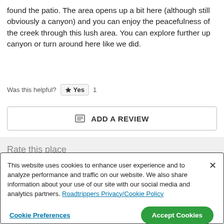found the patio. The area opens up a bit here (although still obviously a canyon) and you can enjoy the peacefulness of the creek through this lush area. You can explore further up canyon or turn around here like we did.
Was this helpful? ★ Yes 1
☰ ADD A REVIEW
Rate this place
This website uses cookies to enhance user experience and to analyze performance and traffic on our website. We also share information about your use of our site with our social media and analytics partners. Roadtrippers Privacy/Cookie Policy
Cookie Preferences | Accept Cookies